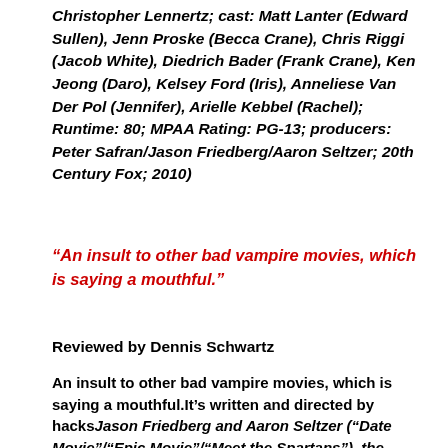Christopher Lennertz; cast: Matt Lanter (Edward Sullen), Jenn Proske (Becca Crane), Chris Riggi (Jacob White), Diedrich Bader (Frank Crane), Ken Jeong (Daro), Kelsey Ford (Iris), Anneliese Van Der Pol (Jennifer), Arielle Kebbel (Rachel); Runtime: 80; MPAA Rating: PG-13; producers: Peter Safran/Jason Friedberg/Aaron Seltzer; 20th Century Fox; 2010)
“An insult to other bad vampire movies, which is saying a mouthful.”
Reviewed by Dennis Schwartz
An insult to other bad vampire movies, which is saying a mouthful.It’s written and directed by hacksJason Friedberg and Aaron Seltzer (“Date Movie”/“Epic Movie”/“Meet the Spartans”), the reviled duo do nothing to disprove their bad reputation as filmmakers with this boring dud. It follows the plot line of the opening two episodes of the Twilight series.